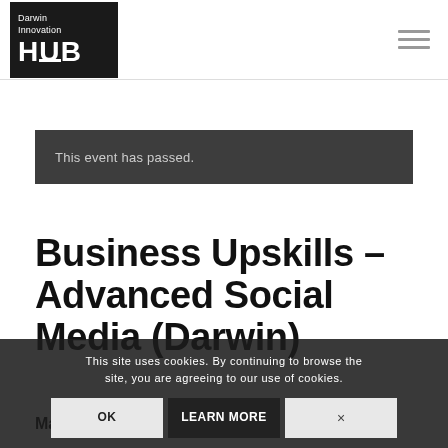[Figure (logo): Darwin Innovation HUB logo — black square with white text reading 'Darwin Innovation' above large bold 'HUB']
This event has passed.
Business Upskills – Advanced Social Media (Darwin)
May 9, ... 3...30
This site uses cookies. By continuing to browse the site, you are agreeing to our use of cookies.